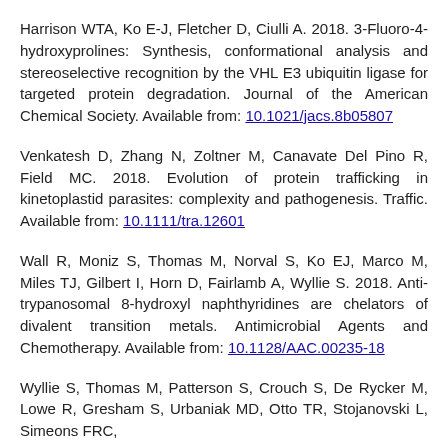Harrison WTA, Ko E-J, Fletcher D, Ciulli A. 2018. 3-Fluoro-4-hydroxyprolines: Synthesis, conformational analysis and stereoselective recognition by the VHL E3 ubiquitin ligase for targeted protein degradation. Journal of the American Chemical Society. Available from: 10.1021/jacs.8b05807
Venkatesh D, Zhang N, Zoltner M, Canavate Del Pino R, Field MC. 2018. Evolution of protein trafficking in kinetoplastid parasites: complexity and pathogenesis. Traffic. Available from: 10.1111/tra.12601
Wall R, Moniz S, Thomas M, Norval S, Ko EJ, Marco M, Miles TJ, Gilbert I, Horn D, Fairlamb A, Wyllie S. 2018. Anti-trypanosomal 8-hydroxyl naphthyridines are chelators of divalent transition metals. Antimicrobial Agents and Chemotherapy. Available from: 10.1128/AAC.00235-18
Wyllie S, Thomas M, Patterson S, Crouch S, De Rycker M, Lowe R, Gresham S, Urbaniak MD, Otto TR, Stojanovski L, Simeons FRC...